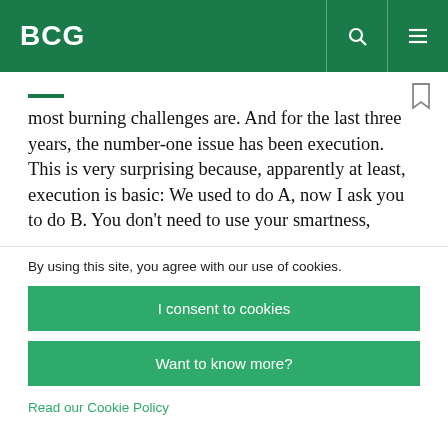BCG
most burning challenges are. And for the last three years, the number-one issue has been execution. This is very surprising because, apparently at least, execution is basic: We used to do A, now I ask you to do B. You don’t need to use your smartness,
By using this site, you agree with our use of cookies.
I consent to cookies
Want to know more?
Read our Cookie Policy